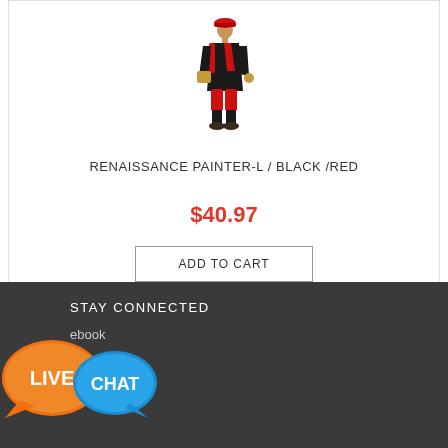[Figure (photo): Renaissance painter costume product photo — figure wearing black and red outfit with beret]
RENAISSANCE PAINTER-L / BLACK /RED
$40.97
ADD TO CART
STAY CONNECTED
ebook
[Figure (illustration): Live Chat widget with orange bubble labeled LIVE and blue bubble labeled CHAT]